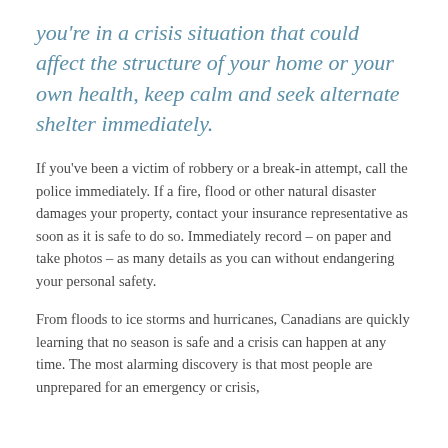you're in a crisis situation that could affect the structure of your home or your own health, keep calm and seek alternate shelter immediately.
If you've been a victim of robbery or a break-in attempt, call the police immediately. If a fire, flood or other natural disaster damages your property, contact your insurance representative as soon as it is safe to do so. Immediately record – on paper and take photos – as many details as you can without endangering your personal safety.
From floods to ice storms and hurricanes, Canadians are quickly learning that no season is safe and a crisis can happen at any time. The most alarming discovery is that most people are unprepared for an emergency or crisis,